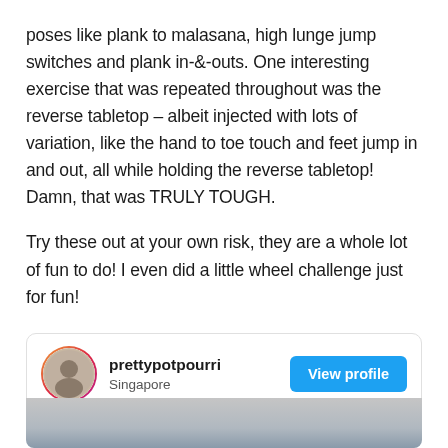poses like plank to malasana, high lunge jump switches and plank in-&-outs. One interesting exercise that was repeated throughout was the reverse tabletop – albeit injected with lots of variation, like the hand to toe touch and feet jump in and out, all while holding the reverse tabletop! Damn, that was TRULY TOUGH.
Try these out at your own risk, they are a whole lot of fun to do! I even did a little wheel challenge just for fun!
prettypotpourri
Singapore
[Figure (photo): Bottom portion of a social media post showing a person in a yoga or exercise pose, partially visible at the bottom of the page.]